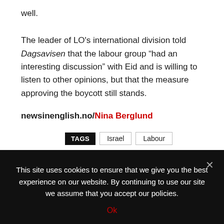well.
The leader of LO's international division told Dagsavisen that the labour group “had an interesting discussion” with Eid and is willing to listen to other opinions, but that the measure approving the boycott still stands.
newsinenglish.no/Nina Berglund
TAGS  Israel  Labour
This site uses cookies to ensure that we give you the best experience on our website. By continuing to use our site we assume that you accept our policies.
Ok